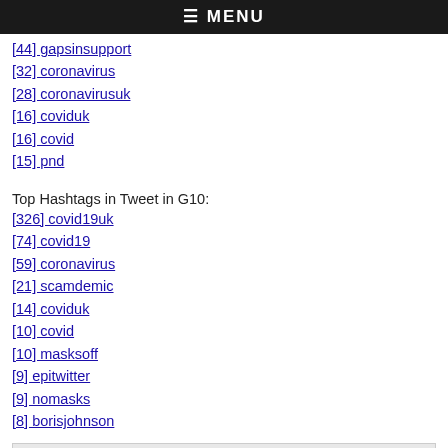≡ MENU
[44] gapsinsupport
[32] coronavirus
[28] coronavirusuk
[16] coviduk
[16] covid
[15] pnd
Top Hashtags in Tweet in G10:
[326] covid19uk
[74] covid19
[59] coronavirus
[21] scamdemic
[14] coviduk
[10] covid
[10] masksoff
[9] epitwitter
[9] nomasks
[8] borisjohnson
▾ Top Words
Top Words in Tweet in Entire Graph:
[16728] #covid19uk
[2453] #covid19
[2346] cases
[1977] now